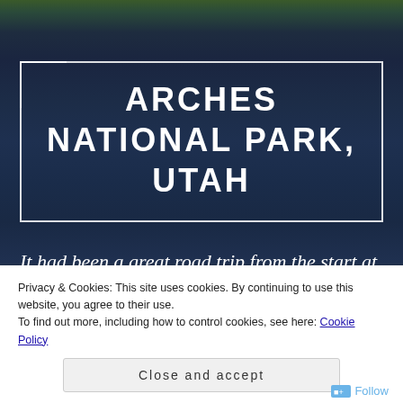[Figure (photo): Background photograph of a national park landscape at dusk, with dark blue sky and terrain silhouette, person visible at top]
ARCHES NATIONAL PARK, UTAH
It had been a great road trip from the start at Mount Rushmore to Devil's Tower.
Privacy & Cookies: This site uses cookies. By continuing to use this website, you agree to their use.
To find out more, including how to control cookies, see here: Cookie Policy
Close and accept